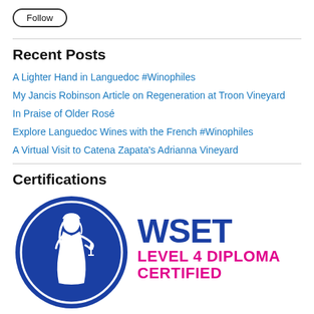Follow
Recent Posts
A Lighter Hand in Languedoc #Winophiles
My Jancis Robinson Article on Regeneration at Troon Vineyard
In Praise of Older Rosé
Explore Languedoc Wines with the French #Winophiles
A Virtual Visit to Catena Zapata's Adrianna Vineyard
Certifications
[Figure (logo): WSET Level 4 Diploma Certified logo with a circular blue emblem featuring a classical woman holding a wine glass, and the text WSET LEVEL 4 DIPLOMA CERTIFIED in blue and magenta]